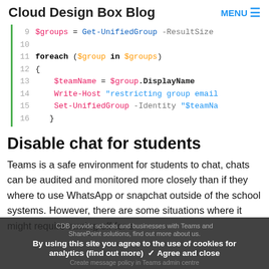Cloud Design Box Blog  MENU
[Figure (screenshot): Syntax-highlighted PowerShell code block showing lines 9-16 of a script. Line 9: $groups = Get-UnifiedGroup -ResultSize; Line 10: (blank); Line 11: foreach ($group in $groups); Line 12: {; Line 13: $teamName = $group.DisplayName; Line 14: Write-Host "restricting group email; Line 15: Set-UnifiedGroup -Identity "$teamNa; Line 16: }]
Disable chat for students
Teams is a safe environment for students to chat, chats can be audited and monitored more closely than if they where to use WhatsApp or snapchat outside of the school systems. However, there are some situations where it might require turning off for s
CDB provide schools and businesses with Teams and SharePoint solutions, find out more about us.
By using this site you agree to the use of cookies for analytics (find out more)  ✓ Agree and close
Create message policy in Teams admin centre